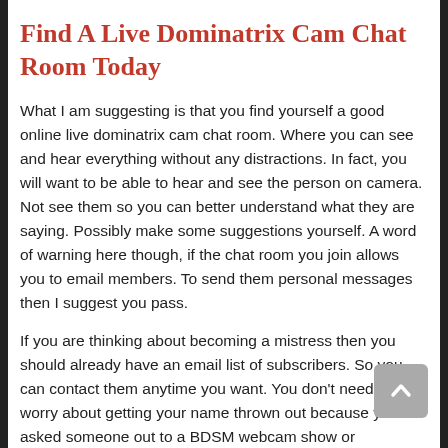Find A Live Dominatrix Cam Chat Room Today
What I am suggesting is that you find yourself a good online live dominatrix cam chat room. Where you can see and hear everything without any distractions. In fact, you will want to be able to hear and see the person on camera. Not see them so you can better understand what they are saying. Possibly make some suggestions yourself. A word of warning here though, if the chat room you join allows you to email members. To send them personal messages then I suggest you pass.
If you are thinking about becoming a mistress then you should already have an email list of subscribers. So you can contact them anytime you want. You don't need to worry about getting your name thrown out because you asked someone out to a BDSM webcam show or something like that. But if you are just looking to talk with some other people who share your desires then